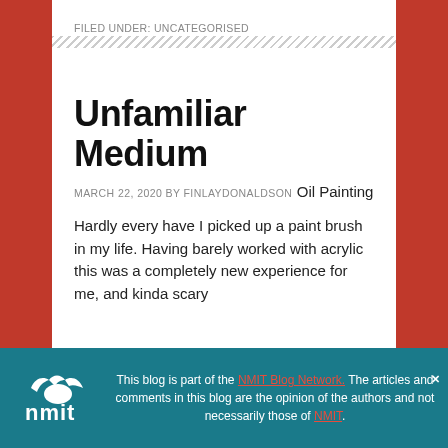FILED UNDER: UNCATEGORISED
Unfamiliar Medium
MARCH 22, 2020 BY FINLAYDONALDSON
Oil Painting
Hardly every have I picked up a paint brush in my life. Having barely worked with acrylic this was a completely new experience for me, and kinda scary
This blog is part of the NMIT Blog Network. The articles and comments in this blog are the opinion of the authors and not necessarily those of NMIT.